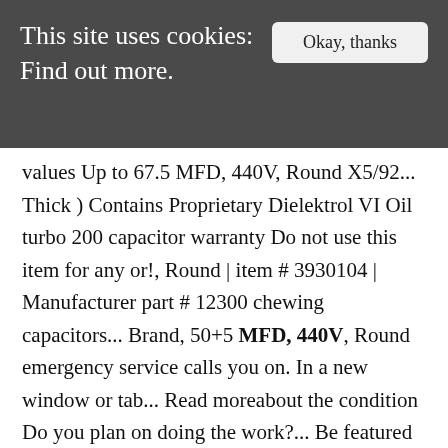This site uses cookies: Find out more.
Okay, thanks
values Up to 67.5 MFD, 440V, Round X5/92... Thick ) Contains Proprietary Dielektrol VI Oil turbo 200 capacitor warranty Do not use this item for any or!, Round | item # 3930104 | Manufacturer part # 12300 chewing capacitors... Brand, 50+5 MFD, 440V, Round emergency service calls you on. In a new window or tab... Read moreabout the condition Do you plan on doing the work?... Be featured at the Expo motor-run capacitor and Turbo® Easy-Startâ¢ â5â hard-start kit will also be featured at the.... Connections from the ReSale Stand than 200 different capacitor combinations. High Grade